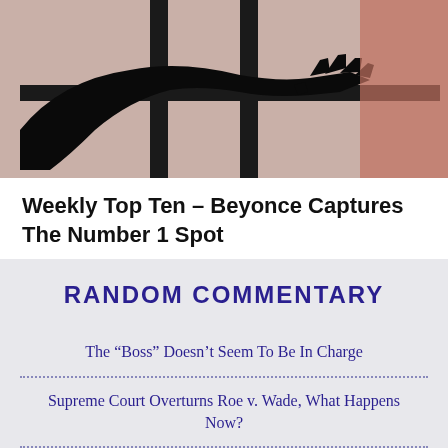[Figure (photo): Silhouette of a person's arm and hand reaching through window bars against a light pinkish-beige background]
Weekly Top Ten – Beyonce Captures The Number 1 Spot
RANDOM COMMENTARY
The “Boss” Doesn’t Seem To Be In Charge
Supreme Court Overturns Roe v. Wade, What Happens Now?
Here’s A Juneteenth History Lesson
Johnny Depp Wins & Amber Heard Might Never